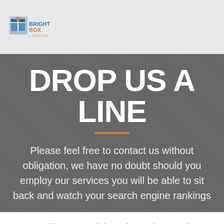BRIGHTBOX LONDON
DROP US A LINE
Please feel free to contact us without obligation, we have no doubt should you employ our services you will be able to sit back and watch your search engine rankings
We use cookies on our website to give you the most relevant experience by remembering your preferences and repeat visits. By clicking “Accept”, you consent to the use of ALL the cookies.
Cookie settings  ACCEPT